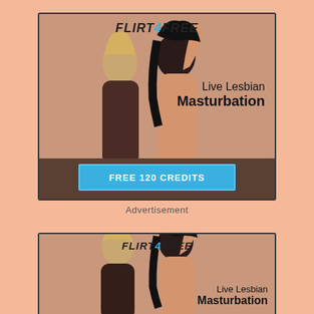[Figure (illustration): Advertisement banner for Flirt4Free showing two women and text 'Live Lesbian Masturbation' with a blue 'FREE 120 CREDITS' button]
Advertisement
[Figure (illustration): Second advertisement banner for Flirt4Free showing two women and text 'Live Lesbian Masturbation' (partially visible, cropped at bottom)]